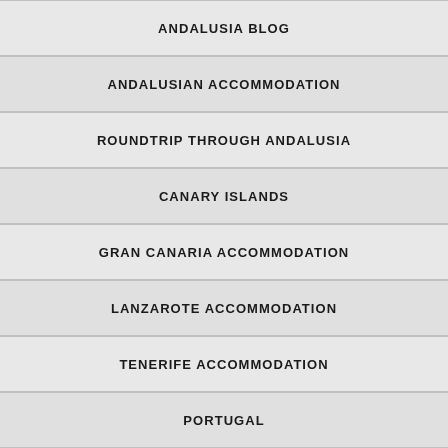ANDALUSIA BLOG
ANDALUSIAN ACCOMMODATION
ROUNDTRIP THROUGH ANDALUSIA
CANARY ISLANDS
GRAN CANARIA ACCOMMODATION
LANZAROTE ACCOMMODATION
TENERIFE ACCOMMODATION
PORTUGAL